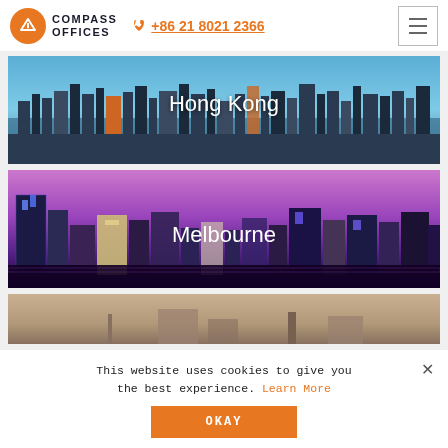[Figure (logo): Compass Offices logo: orange circle with white triangle/arrow mark, beside bold text 'COMPASS OFFICES']
+86 21 8021 2366
[Figure (photo): Aerial photo of Hong Kong skyline with harbor and skyscrapers, labeled 'Hong Kong']
[Figure (photo): Night photo of Melbourne skyline with purple/pink tones, labeled 'Melbourne']
[Figure (photo): Partial view of a third city photo (cut off by cookie banner)]
This website uses cookies to give you the best experience. Learn More
OKAY